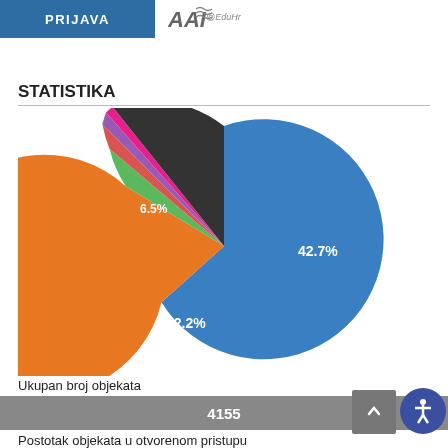PRIJAVA
[Figure (logo): AAI@EduHr logo]
STATISTIKA
[Figure (pie-chart): Statistika]
Ukupan broj objekata
4155
Postotak objekata u otvorenom pristupu